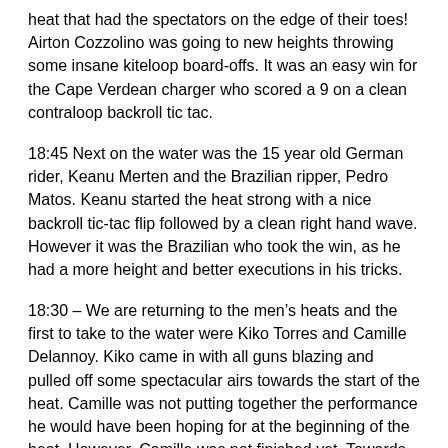heat that had the spectators on the edge of their toes! Airton Cozzolino was going to new heights throwing some insane kiteloop board-offs. It was an easy win for the Cape Verdean charger who scored a 9 on a clean contraloop backroll tic tac.
18:45 Next on the water was the 15 year old German rider, Keanu Merten and the Brazilian ripper, Pedro Matos. Keanu started the heat strong with a nice backroll tic-tac flip followed by a clean right hand wave. However it was the Brazilian who took the win, as he had a more height and better executions in his tricks.
18:30 – We are returning to the men's heats and the first to take to the water were Kiko Torres and Camille Delannoy. Kiko came in with all guns blazing and pulled off some spectacular airs towards the start of the heat. Camille was not putting together the performance he would have been hoping for at the beginning of the heat. However, Camille was not finished yet. Towards the end of the heat Camille managed to find some clean waves and claimed to big scores which was enough to put him through to the next round.